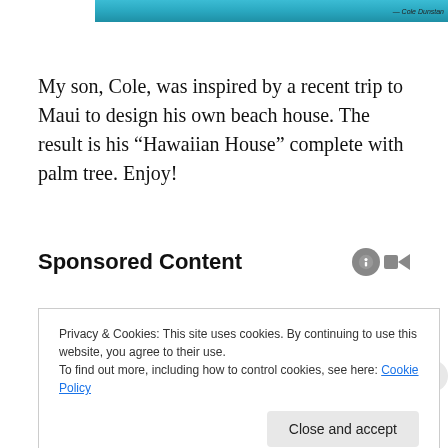[Figure (photo): Partial view of a colorful Hawaiian-themed artwork/illustration with teal/blue tones, with a credit reading '— Cole Dunstan' at the right edge.]
My son, Cole, was inspired by a recent trip to Maui to design his own beach house. The result is his “Hawaiian House” complete with palm tree. Enjoy!
Sponsored Content
Privacy & Cookies: This site uses cookies. By continuing to use this website, you agree to their use.
To find out more, including how to control cookies, see here: Cookie Policy
Close and accept